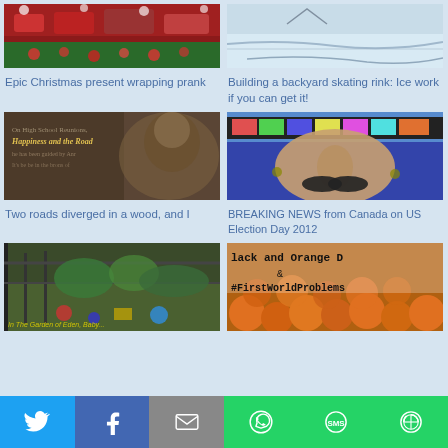[Figure (photo): Christmas present with decorations, red and green]
Epic Christmas present wrapping prank
[Figure (photo): Backyard skating rink, icy surface]
Building a backyard skating rink: Ice work if you can get it!
[Figure (photo): Book page with text about high school reunions, happiness and the road, woman's face]
Two roads diverged in a wood, and I
[Figure (photo): Person wearing colorful glasses and fake mustache]
BREAKING NEWS from Canada on US Election Day 2012
[Figure (photo): Garden with fence, plants and toys, backyard]
[Figure (photo): Pumpkins with text Black and Orange D... & #FirstWorldProblems]